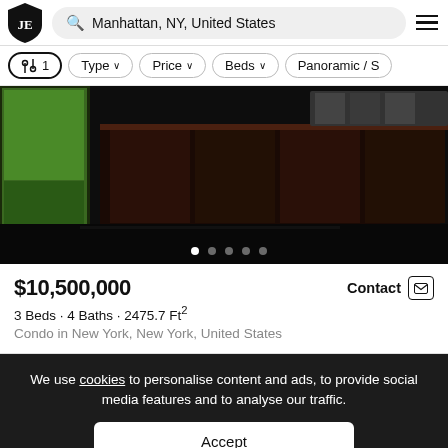JE | Manhattan, NY, United States
⇄ 1 | Type ∨ | Price ∨ | Beds ∨ | Panoramic / S
[Figure (photo): Interior photo of a luxury condo kitchen with dark wood cabinets, black hardwood floors, and large windows with greenery visible outside. Carousel dots at bottom showing 5 images.]
$10,500,000
Contact
3 Beds · 4 Baths · 2475.7 Ft²
Condo in New York, New York, United States
We use cookies to personalise content and ads, to provide social media features and to analyse our traffic.
Accept